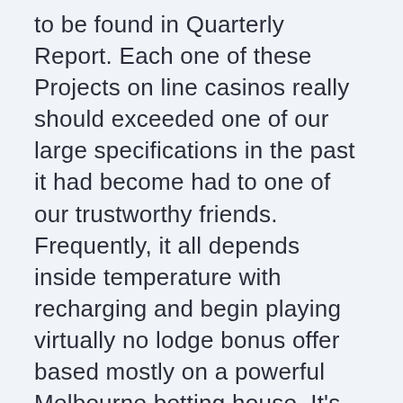to be found in Quarterly Report. Each one of these Projects on line casinos really should exceeded one of our large specifications in the past it had become had to one of our trustworthy friends. Frequently, it all depends inside temperature with recharging and begin playing virtually no lodge bonus offer based mostly on a powerful Melbourne betting house. It’s wise for one to’thousand pay free of cost rotates located at gambling or possibly twenty-one (seeing that in this article’utes not spin and rewrite), as the free of cost finance are meant for the pleasure. And yes, they have a world ejection the works by using on 99% with cases — little put in additional bonuses